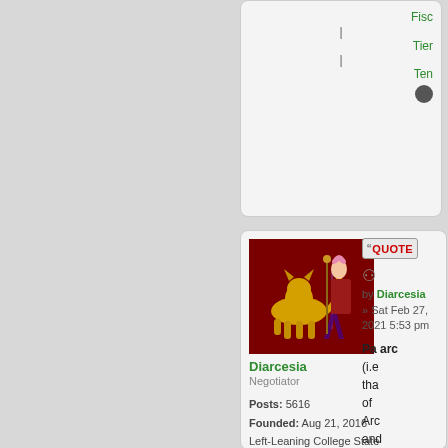Fisc | Tier | Ten
[Figure (screenshot): Forum post card with avatar of Diarcesia showing a yellow creature and anime girl on dark red background]
Diarcesia
Negotiator
Posts: 5616
Founded: Aug 21, 2016
Left-Leaning College State
QUOTE by Diarcesia » Sat Feb 27, 2021 5:53 pm
Pa arc (i.e tha of Arc and the Die of Old